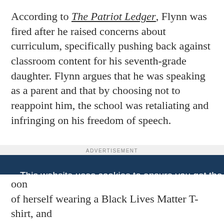According to The Patriot Ledger, Flynn was fired after he raised concerns about curriculum, specifically pushing back against classroom content for his seventh-grade daughter. Flynn argues that he was speaking as a parent and that by choosing not to reappoint him, the school was retaliating and infringing on his freedom of speech.
ADVERTISEMENT
This website uses cookies to ensure you get the best experience on our website.
Learn more
Got it!
oon of herself wearing a Black Lives Matter T-shirt, and